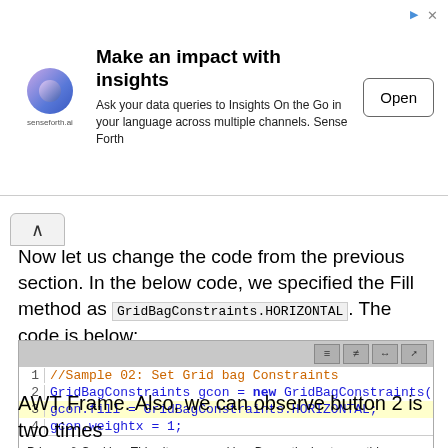[Figure (screenshot): Advertisement banner for senseforth.ai with logo, title 'Make an impact with insights', description text, and Open button]
Now let us change the code from the previous section. In the below code, we specified the Fill method as GridBagConstraints.HORIZONTAL. The code is below:
[Figure (screenshot): Code editor screenshot showing 4 lines of Java code: 1) //Sample 02: Set Grid bag Constraints, 2) GridBagConstraints gcon = new GridBagConstraints(, 3) gcon.fill = GridBagConstraints.HORIZONTAL; (highlighted), 4) gcon.weightx = 1;. A cookie notice overlay is also visible.]
AWT Frame. Also, we can observe button 2 is two times